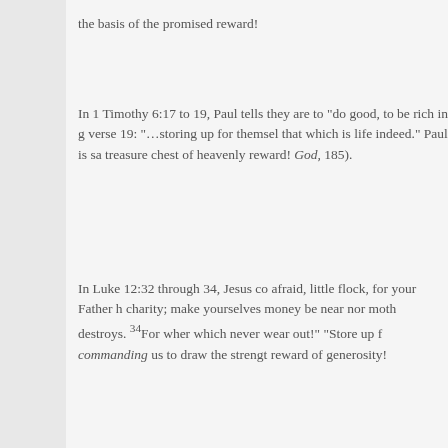the basis of the promised reward!
In 1 Timothy 6:17 to 19, Paul tells they are to “do good, to be rich in g verse 19: “…storing up for themsel that which is life indeed.” Paul is sa treasure chest of heavenly reward! God, 185).
In Luke 12:32 through 34, Jesus co afraid, little flock, for your Father h charity; make yourselves money be near nor moth destroys. ³⁴For wher which never wear out!” “Store up f commanding us to draw the strengt reward of generosity!